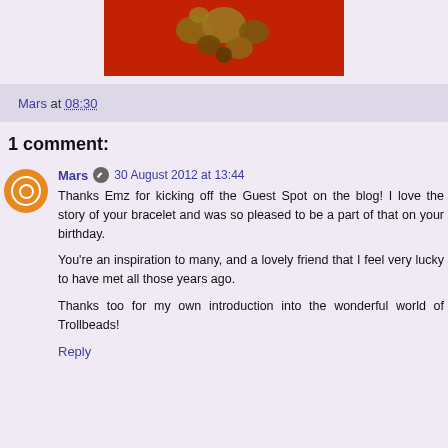[Figure (photo): Cropped photo of gold/bronze jewelry charms on red fabric background]
Mars at 08:30
1 comment:
Mars  30 August 2012 at 13:44
Thanks Emz for kicking off the Guest Spot on the blog! I love the story of your bracelet and was so pleased to be a part of that on your birthday.

You're an inspiration to many, and a lovely friend that I feel very lucky to have met all those years ago.

Thanks too for my own introduction into the wonderful world of Trollbeads!
Reply